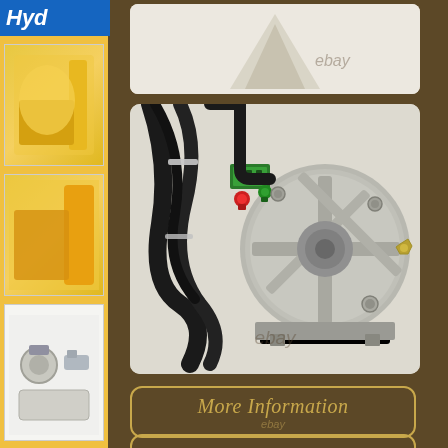[Figure (photo): Top product image showing hydraulic pump unit with ebay watermark, light background]
[Figure (photo): Main large product photo showing electric motor/hydraulic pump unit with black cables and wiring, silver metallic motor casing with cross-shaped cooling fins, green circuit board visible, red and green connectors, mounted on bracket. ebay watermark visible at bottom center.]
[Figure (photo): Left sidebar thumbnail 1: yellow hydraulic lift unit product photo]
[Figure (photo): Left sidebar thumbnail 2: partial view of yellow product]
[Figure (photo): Left sidebar thumbnail 3: hydraulic components/fittings close-up]
More Information
View Price